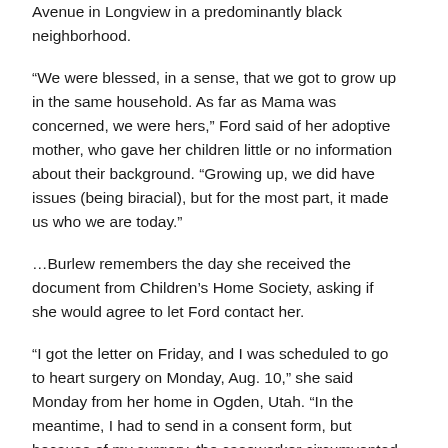Avenue in Longview in a predominantly black neighborhood.
“We were blessed, in a sense, that we got to grow up in the same household. As far as Mama was concerned, we were hers,” Ford said of her adoptive mother, who gave her children little or no information about their background. “Growing up, we did have issues (being biracial), but for the most part, it made us who we are today.”
…Burlew remembers the day she received the document from Children’s Home Society, asking if she would agree to let Ford contact her.
“I got the letter on Friday, and I was scheduled to go to heart surgery on Monday, Aug. 10,” she said Monday from her home in Ogden, Utah. “In the meantime, I had to send in a consent form, but because of my surgery, the caseworker circumvented it, and Helen and I spoke that weekend.”